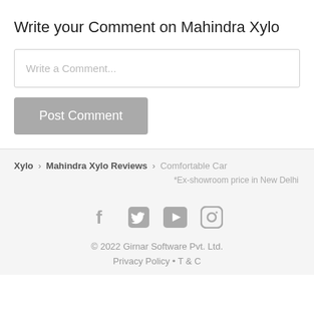Write your Comment on Mahindra Xylo
[Figure (screenshot): Comment input text box with placeholder text 'Write a Comment...']
[Figure (screenshot): Gray 'Post Comment' button]
Xylo > Mahindra Xylo Reviews > Comfortable Car
*Ex-showroom price in New Delhi
[Figure (other): Social media icons: Facebook, Twitter, YouTube, Instagram]
© 2022 Girnar Software Pvt. Ltd.
Privacy Policy • T & C